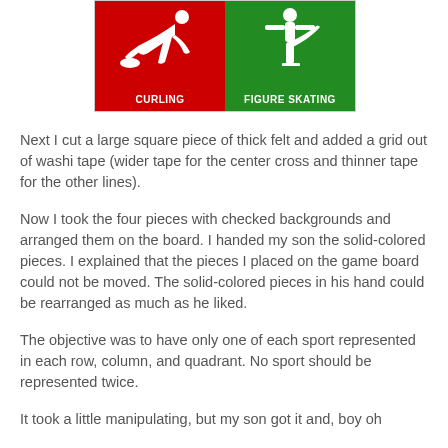[Figure (illustration): Two-panel sport icon image. Left panel: red background with white silhouette of curling player, labeled CURLING in bold white. Right panel: green background with white silhouette of figure skater, labeled FIGURE SKATING in bold white.]
Next I cut a large square piece of thick felt and added a grid out of washi tape (wider tape for the center cross and thinner tape for the other lines).
Now I took the four pieces with checked backgrounds and arranged them on the board. I handed my son the solid-colored pieces. I explained that the pieces I placed on the game board could not be moved. The solid-colored pieces in his hand could be rearranged as much as he liked.
The objective was to have only one of each sport represented in each row, column, and quadrant. No sport should be represented twice.
It took a little manipulating, but my son got it and, boy oh